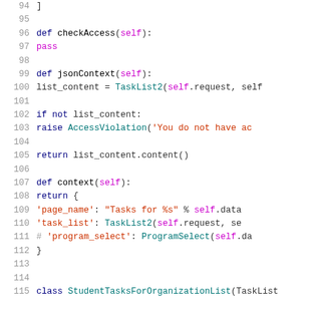[Figure (screenshot): Python source code snippet showing lines 94-115 with syntax highlighting. Lines include checkAccess method, jsonContext method with TaskList2 call, if/raise block for AccessViolation, return statement, context method returning dict with page_name and task_list keys, a commented program_select line, and beginning of StudentTasksForOrganizationList class definition.]